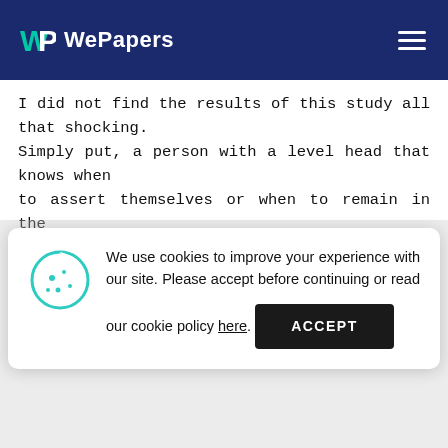WePapers
I did not find the results of this study all that shocking. Simply put, a person with a level head that knows when to assert themselves or when to remain in the background not only enjoys the most success in a
We use cookies to improve your experience with our site. Please accept before continuing or read our cookie policy here.
ACCEPT
EXTROVERSION VERSUS INTROVERSION Author 3
personality characteristic which aids a person for